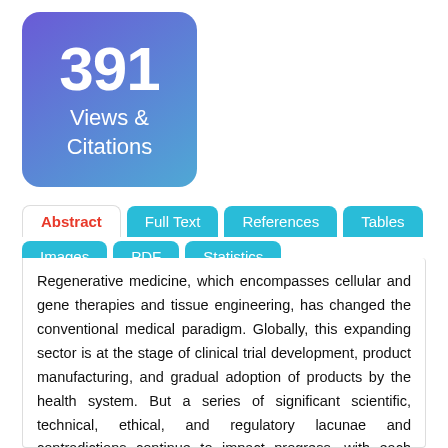[Figure (infographic): Purple-blue rounded square badge showing '391 Views & Citations']
Abstract | Full Text | References | Tables | Images | PDF | Statistics (navigation tabs)
Regenerative medicine, which encompasses cellular and gene therapies and tissue engineering, has changed the conventional medical paradigm. Globally, this expanding sector is at the stage of clinical trial development, product manufacturing, and gradual adoption of products by the health system. But a series of significant scientific, technical, ethical, and regulatory lacunae and contradictions continue to impact progress, with each country implementing solutions of its own. This article, a qualitative and statistical study, illustrates the principal characteristics and regulation of recent clinical trials in RM in Brazil. In spite of the unresolved issues in RM